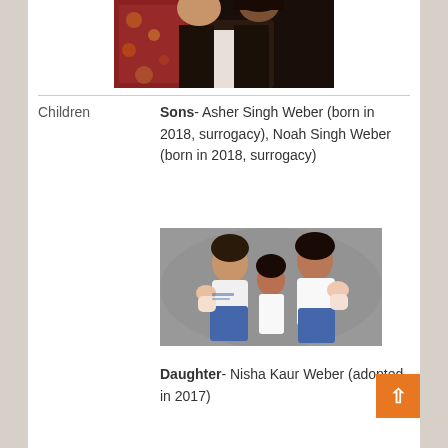[Figure (photo): Partial photo of a couple at the top of the page, showing ornate clothing and dark suit]
|  |  |
| --- | --- |
| Children | Sons- Asher Singh Weber (born in 2018, surrogacy), Noah Singh Weber (born in 2018, surrogacy) |
|  | [Family photo of man, woman, and children] |
|  | Daughter- Nisha Kaur Weber (adopted in 2017) |